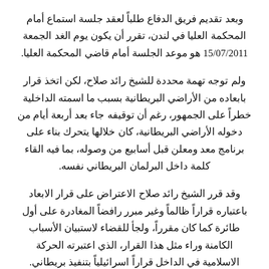وبعد تقديم فريق الدفاع طلباً لعقد جلسة استماع أمام المحكمة العليا في لندن، تقرر أن يكون يوم الغد الجمعة 15/07/2011 هو موعد الجلسة أمام قاضي المحكمة العليا.
ولم توجه تهمة محددة للشيخ رائد صلاح، لكن اتخذ قرار بابعاده من الأراضي البريطانية بسبب ما اسمته الداخلية خطراً على الجمهور، رغم أن توقيفه جاء بعد أربعة أيام من دخوله الأراضي البريطانية، كان خلالها يتحرك بناء على برنامج معد ومعلن قبل أسابيع من وصوله، بما فيه القاء كلمة داخل البرلمان البريطاني نفسه.
وقد قرر الشيخ رائد صلاح الاعتراض على قرار الابعاد باعتباره قراراً ظالماً وغير مبرر رافضاً المغادرة على أول طائرة كما كان مقرراً، ولجأ للقضاء لاستبيان الأسباب الكامنة وراء مثل هذا القرار، الذي اعتبرته الحركة الاسلامية في الداخل قراراً اسرائيلياً بتنفيذ بريطاني.
وبحافظ الشيخ رائد صلاح على معنويات عالية جداً، حيث لم تفارق ابتسامته المعهودة وقد نظم حتى اللحظة ثلاث قصائد